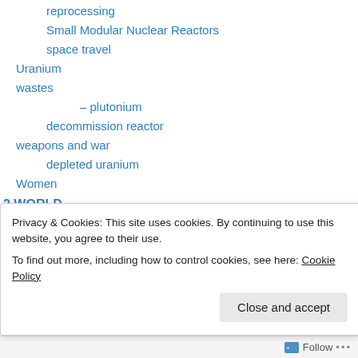reprocessing
Small Modular Nuclear Reactors
space travel
Uranium
wastes
– plutonium
decommission reactor
weapons and war
depleted uranium
Women
2 WORLD
ANTARCTICA
ARCTIC
Privacy & Cookies: This site uses cookies. By continuing to use this website, you agree to their use.
To find out more, including how to control cookies, see here: Cookie Policy
Close and accept
Follow